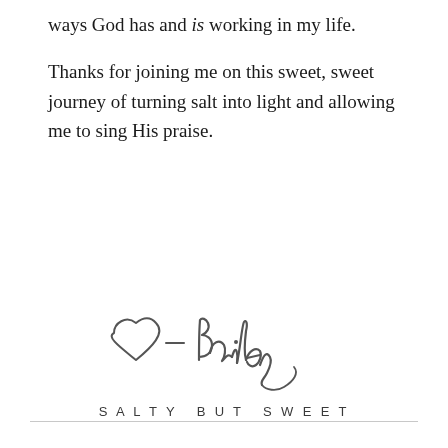ways God has and is working in my life.

Thanks for joining me on this sweet, sweet journey of turning salt into light and allowing me to sing His praise.
[Figure (illustration): Handwritten cursive signature reading '♡- Bailey' with a hand-drawn heart shape, followed by the text 'SALTY BUT SWEET' in spaced small caps below]